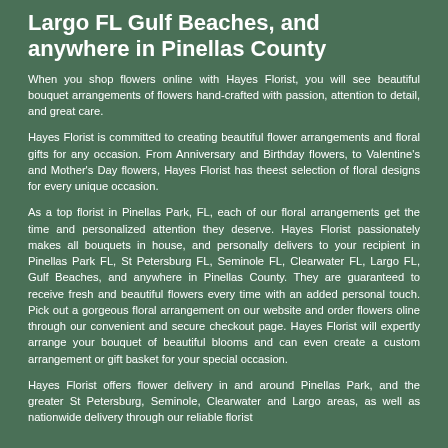Largo FL Gulf Beaches, and anywhere in Pinellas County
When you shop flowers online with Hayes Florist, you will see beautiful bouquet arrangements of flowers hand-crafted with passion, attention to detail, and great care.
Hayes Florist is committed to creating beautiful flower arrangements and floral gifts for any occasion. From Anniversary and Birthday flowers, to Valentine's and Mother's Day flowers, Hayes Florist has theest selection of floral designs for every unique occasion.
As a top florist in Pinellas Park, FL, each of our floral arrangements get the time and personalized attention they deserve. Hayes Florist passionately makes all bouquets in house, and personally delivers to your recipient in Pinellas Park FL, St Petersburg FL, Seminole FL, Clearwater FL, Largo FL, Gulf Beaches, and anywhere in Pinellas County. They are guaranteed to receive fresh and beautiful flowers every time with an added personal touch. Pick out a gorgeous floral arrangement on our website and order flowers oline through our convenient and secure checkout page. Hayes Florist will expertly arrange your bouquet of beautiful blooms and can even create a custom arrangement or gift basket for your special occasion.
Hayes Florist offers flower delivery in and around Pinellas Park, and the greater St Petersburg, Seminole, Clearwater and Largo areas, as well as nationwide delivery through our reliable florist network.